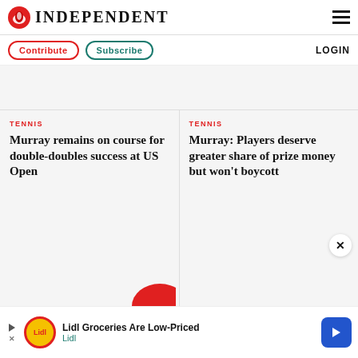INDEPENDENT
Contribute  Subscribe  LOGIN
[Figure (other): Grey advertisement banner area]
TENNIS
Murray remains on course for double-doubles success at US Open
TENNIS
Murray: Players deserve greater share of prize money but won't boycott
[Figure (other): Lidl Groceries Are Low-Priced advertisement banner at bottom of page]